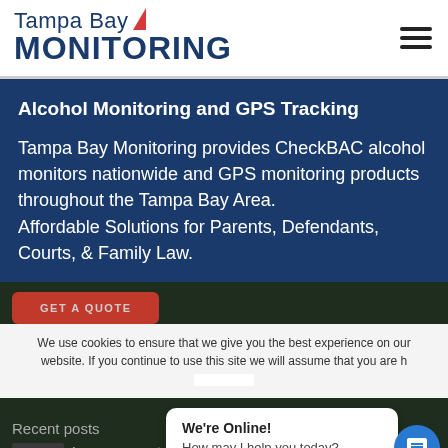[Figure (logo): Tampa Bay Monitoring logo with red arrow/chevron above the 'O' in MONITORING]
Alcohol Monitoring and GPS Tracking
Tampa Bay Monitoring provides CheckBAC alcohol monitors nationwide and GPS monitoring products throughout the Tampa Bay Area.
Affordable Solutions for Parents, Defendants, Courts, & Family Law.
GET A QUOTE
We use cookies to ensure that we give you the best experience on our website. If you continue to use this site we will assume that you are h...
We're Online!
How may I help you today?
Recent posts
Is someone not admitting alcohol?